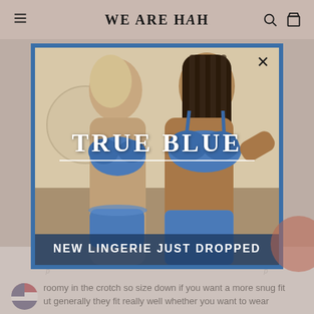We Are HAH
[Figure (photo): Popup modal with blue border showing two women wearing blue lace lingerie (bra and bottoms). Text overlay reads 'TRUE BLUE' with a horizontal line beneath it, and a dark banner at the bottom reads 'NEW LINGERIE JUST DROPPED'. An X close button is in the top-right corner.]
roomy in the crotch so size down if you want a more snug fit
ut generally they fit really well whether you want to wear